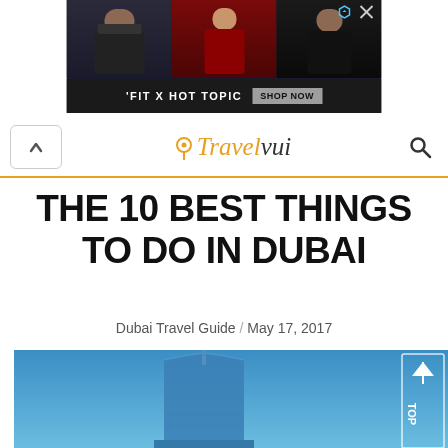[Figure (photo): Advertisement banner for 'FIT X HOT TOPIC' featuring three people, with a 'SHOP NOW' button]
Travelvui navigation header with menu icon, Travel vui logo, and search icon
THE 10 BEST THINGS TO DO IN DUBAI
Dubai Travel Guide / May 17, 2017
[Figure (photo): Photo of Burj Al Arab hotel against blue sky, with a 'TOP' scroll button overlay in top right corner]